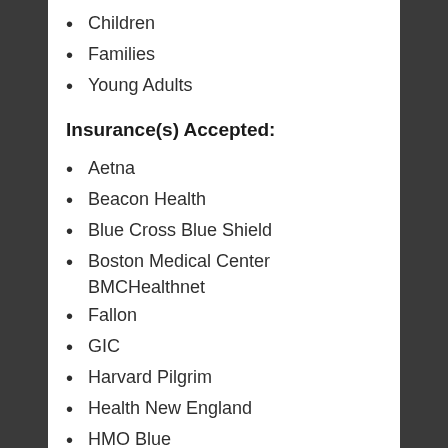Children
Families
Young Adults
Insurance(s) Accepted:
Aetna
Beacon Health
Blue Cross Blue Shield
Boston Medical Center BMCHealthnet
Fallon
GIC
Harvard Pilgrim
Health New England
HMO Blue
Neighborhood Health Plan
Network Health
Tufts Health Plan